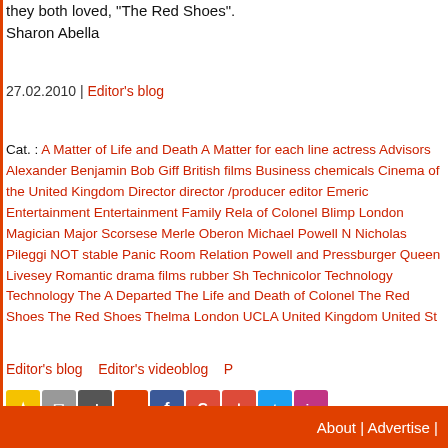they both loved, "The Red Shoes".
Sharon Abella
27.02.2010 | Editor's blog
Cat. : A Matter of Life and Death A Matter for each line actress Advisors Alexander Benjamin Bob Giff British films Business chemicals Cinema of the United Kingdom Director director /producer editor Emeric Entertainment Entertainment Family Relation of Colonel Blimp London Magician Major Scorsese Merle Oberon Michael Powell Nicholas Pileggi NOT stable Panic Room Relation Powell and Pressburger Queen Livesey Romantic drama films rubber Technicolor Technology Technology The Departed The Life and Death of Colonel The Red Shoes The Red Shoes Thelma London UCLA United Kingdom United Sta
Editor's blog   Editor's videoblog   P
About | Advertise |